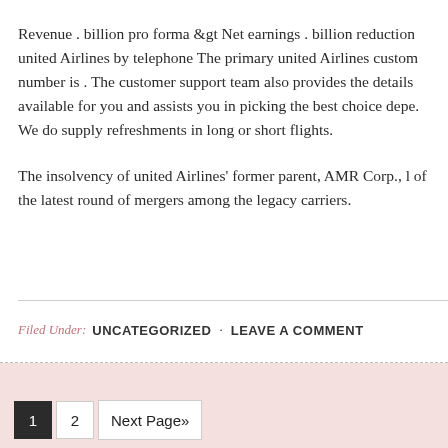Revenue . billion pro forma &gt Net earnings . billion reduction united Airlines by telephone The primary united Airlines customer number is . The customer support team also provides the details available for you and assists you in picking the best choice depe. We do supply refreshments in long or short flights.
The insolvency of united Airlines' former parent, AMR Corp., l of the latest round of mergers among the legacy carriers.
Filed Under: UNCATEGORIZED · LEAVE A COMMENT
1  2  Next Page»